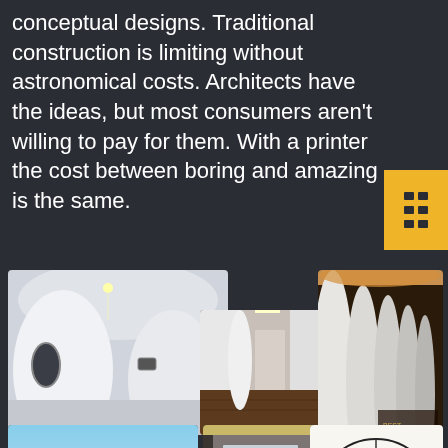conceptual designs. Traditional construction is limiting without astronomical costs. Architects have the ideas, but most consumers aren't willing to pay for them. With a printer the cost between boring and amazing is the same.
[Figure (photo): Collage of 3D-printed architectural interior and exterior photos including futuristic curved white rooms, modern bathroom corridors, beach spiral structure, floor plan diagram, and green building exterior. Includes 'Best of Year 2011' text on one photo.]